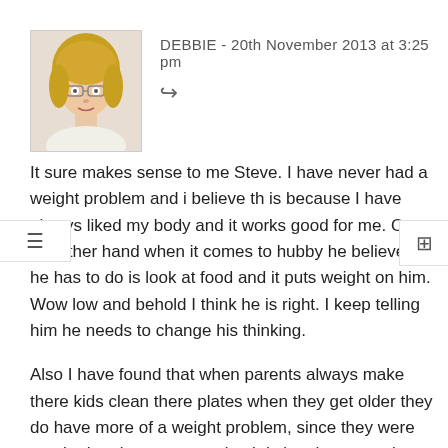DEBBIE - 20th November 2013 at 3:25 pm
It sure makes sense to me Steve. I have never had a weight problem and i believe that is because I have always liked my body and it works good for me. On the other hand when it comes to hubby he believe all he has to do is look at food and it puts weight on him. Wow low and behold I think he is right. I keep telling him he needs to change his thinking.
Also I have found that when parents always make there kids clean there plates when they get older they do have more of a weight problem, since they were taught that there are starving kids in other countries. Food should never go to waste, so they better eat.